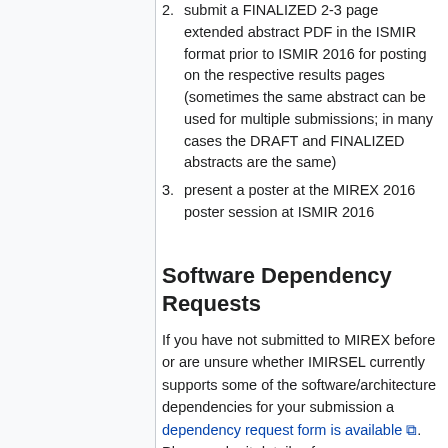2. submit a FINALIZED 2-3 page extended abstract PDF in the ISMIR format prior to ISMIR 2016 for posting on the respective results pages (sometimes the same abstract can be used for multiple submissions; in many cases the DRAFT and FINALIZED abstracts are the same)
3. present a poster at the MIREX 2016 poster session at ISMIR 2016
Software Dependency Requests
If you have not submitted to MIREX before or are unsure whether IMIRSEL currently supports some of the software/architecture dependencies for your submission a dependency request form is available. Please submit details of your dependencies on this form and the IMIRSEL team will attempt to satisfy them for you.
Due to the high volume of submissions expected at MIREX 2015, submissions with